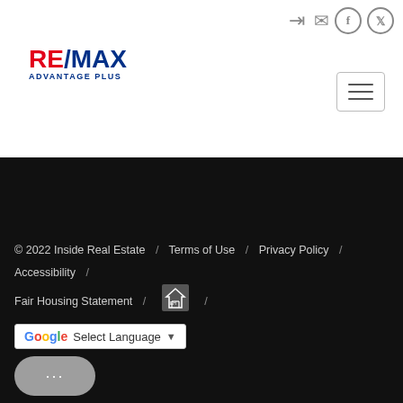[Figure (logo): RE/MAX Advantage Plus logo with red RE, blue slash, blue MAX, and blue ADVANTAGE PLUS subtitle]
by West Central Association of Realtors®. Copyright 2022 - West Central Association of Realtors®- All Rights Reserved. Listing
Show More...
© 2022 Inside Real Estate / Terms of Use / Privacy Policy / Accessibility / Fair Housing Statement /
Select Language